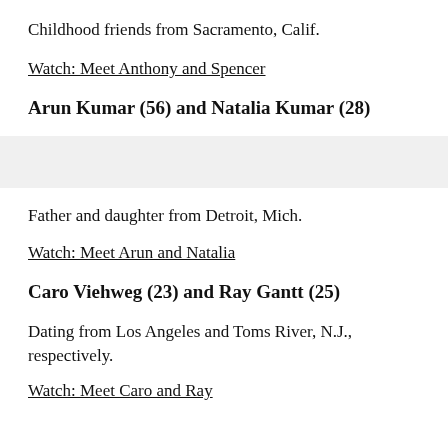Childhood friends from Sacramento, Calif.
Watch: Meet Anthony and Spencer
Arun Kumar (56) and Natalia Kumar (28)
Father and daughter from Detroit, Mich.
Watch: Meet Arun and Natalia
Caro Viehweg (23) and Ray Gantt (25)
Dating from Los Angeles and Toms River, N.J., respectively.
Watch: Meet Caro and Ray